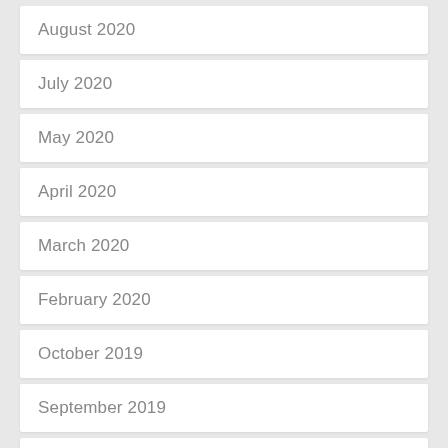August 2020
July 2020
May 2020
April 2020
March 2020
February 2020
October 2019
September 2019
August 2019